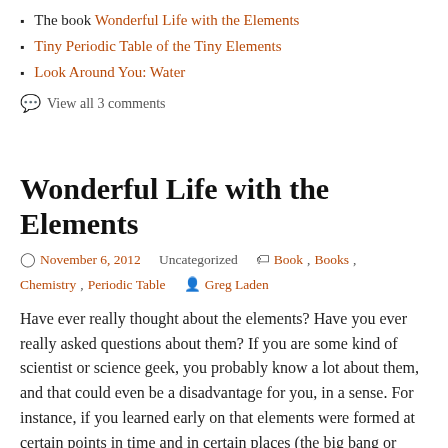The book Wonderful Life with the Elements
Tiny Periodic Table of the Tiny Elements
Look Around You: Water
View all 3 comments
Wonderful Life with the Elements
November 6, 2012   Uncategorized   Book, Books, Chemistry, Periodic Table   Greg Laden
Have ever really thought about the elements? Have you ever really asked questions about them? If you are some kind of scientist or science geek, you probably know a lot about them, and that could even be a disadvantage for you, in a sense. For instance, if you learned early on that elements were formed at certain points in time and in certain places (the big bang or later in stars, for most